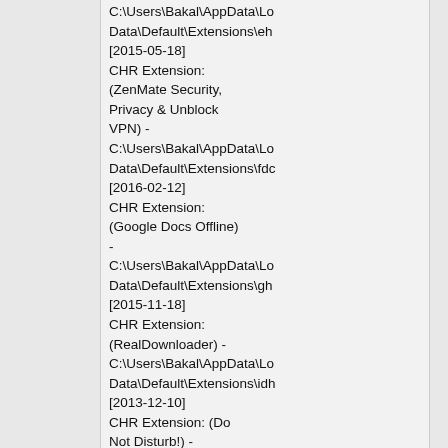C:\Users\Bakal\AppData\Lo Data\Default\Extensions\eh [2015-05-18] CHR Extension: (ZenMate Security, Privacy & Unblock VPN) - C:\Users\Bakal\AppData\Lo Data\Default\Extensions\fdc [2016-02-12] CHR Extension: (Google Docs Offline) - C:\Users\Bakal\AppData\Lo Data\Default\Extensions\gh [2015-11-18] CHR Extension: (RealDownloader) - C:\Users\Bakal\AppData\Lo Data\Default\Extensions\idh [2013-12-10] CHR Extension: (Do Not Disturb!) - C:\Users\Bakal\AppData\Lo Data\Default\Extensions\iln [2014-12-17]